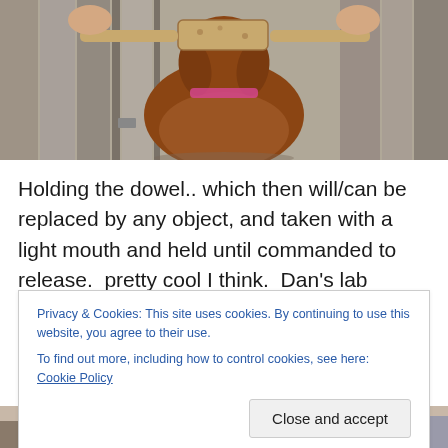[Figure (photo): A brown dog (Vizsla) holding a wooden dowel/block in its mouth, standing against a weathered wood fence background]
Holding the dowel.. which then will/can be replaced by any object, and taken with a light mouth and held until commanded to release.  pretty cool I think.  Dan's lab mango will “fetch up” most anything, medicine, papers, a
Privacy & Cookies: This site uses cookies. By continuing to use this website, you agree to their use.
To find out more, including how to control cookies, see here: Cookie Policy
[Figure (photo): Partial view of people at the bottom of the page, cropped]